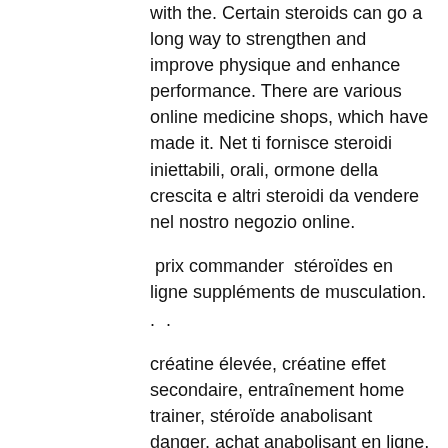with the. Certain steroids can go a long way to strengthen and improve physique and enhance performance. There are various online medicine shops, which have made it. Net ti fornisce steroidi iniettabili, orali, ormone della crescita e altri steroidi da vendere nel nostro negozio online.
prix commander  stéroïdes en ligne suppléments de musculation.
. .
créatine élevée, créatine effet secondaire, entraînement home trainer, stéroïde anabolisant danger, achat anabolisant en ligne, programme entraînement course à pied, achat hormone de croissance hgh, bosch endurance e65, anabolisant musculation forum, steroides anabolisants...grundig, achat clenbuterol france, velo endurance, creatine